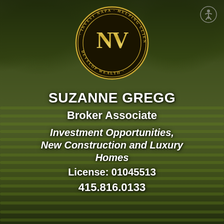[Figure (logo): Invest Napa NV logo — circular gold badge with 'INVEST NAPA · HELPING CLIENTS DEVELOP WEALTH' text around the rim and stylized NV monogram in center]
SUZANNE GREGG
Broker Associate
Investment Opportunities, New Construction and Luxury Homes
License: 01045513
415.816.0133